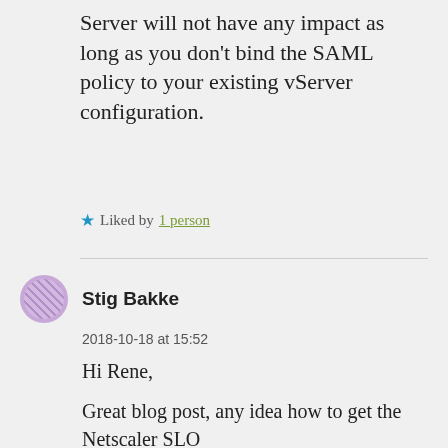Server will not have any impact as long as you don't bind the SAML policy to your existing vServer configuration.
Liked by 1 person
Stig Bakke
2018-10-18 at 15:52
Hi Rene,
Great blog post, any idea how to get the Netscaler SLO (https://netscaler_fqdn/cgi/tmlogout) into the Azure App single sign on settings? Psh or import of Metadata file? Testing SLO only log...